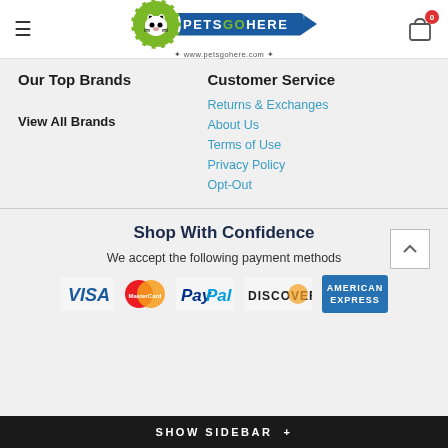[Figure (logo): Pets Go Here logo with dog/cat icon, green circle, blue banner, paw print map pin, and www.petsgohere.com URL]
Our Top Brands
Customer Service
View All Brands
Returns & Exchanges
About Us
Terms of Use
Privacy Policy
Opt-Out
Shop With Confidence
We accept the following payment methods
[Figure (logo): Payment method logos: VISA, MasterCard, PayPal, DISCOVER, AMERICAN EXPRESS]
SHOW SIDEBAR +